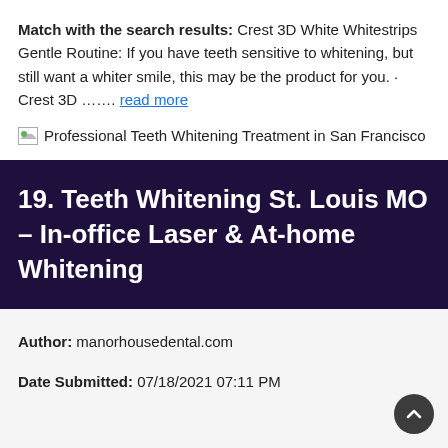Match with the search results: Crest 3D White Whitestrips Gentle Routine: If you have teeth sensitive to whitening, but still want a whiter smile, this may be the product for you. · Crest 3D ……. read more
[Figure (other): Broken image placeholder with alt text: Professional Teeth Whitening Treatment in San Francisco]
19. Teeth Whitening St. Louis MO – In-office Laser & At-home Whitening
Author: manorhousedental.com
Date Submitted: 07/18/2021 07:11 PM